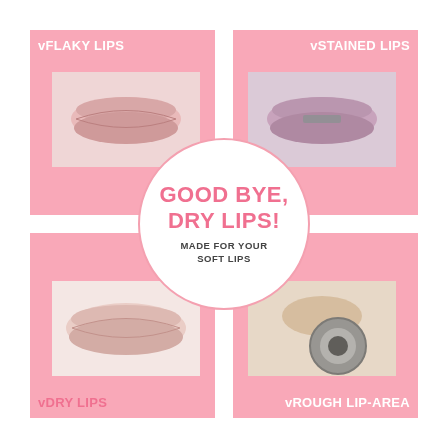[Figure (infographic): Beauty infographic with four pink squares showing close-up photos of lips (flaky, stained, dry, rough lip-area) and a central white circle with text 'GOOD BYE, DRY LIPS! MADE FOR YOUR SOFT LIPS']